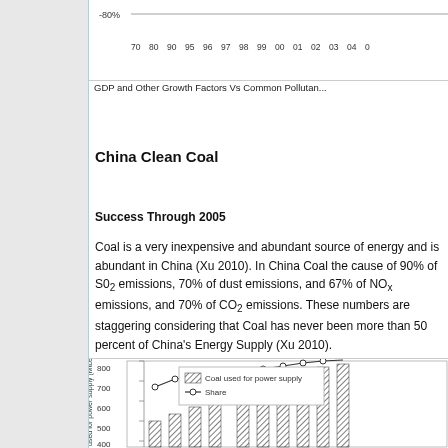[Figure (continuous-plot): Partial view of a line chart showing GDP and Other Growth Factors vs Common Pollutants. X-axis shows years from 70 to 05, y-axis shows -80% at bottom visible. Lines partially visible at top.]
GDP and Other Growth Factors Vs Common Pollutan...
China Clean Coal
Success Through 2005
Coal is a very inexpensive and abundant source of energy and is abundant in China (Xu 2010). In China Coal the cause of 90% of SO2 emissions, 70% of dust emissions, and 67% of NOx emissions, and 70% of CO2 emissions. These numbers are staggering considering that Coal has never been more than 50 percent of China's Energy Supply (Xu 2010).
[Figure (bar-chart): Partial bar and line chart showing Coal used for power supply (Mtce) on y-axis (300-800), with bars for coal used for power supply and a line for Share. X-axis shows years. Legend visible with hatched bars and diamond line markers.]